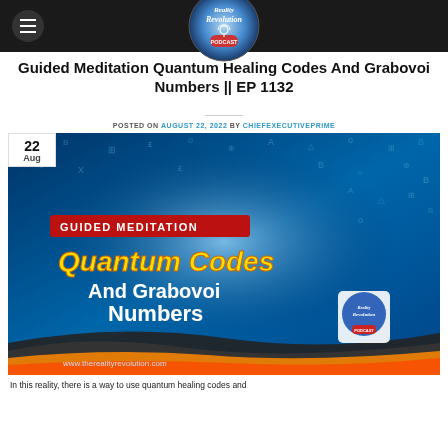Reality Revolution Podcast
Guided Meditation Quantum Healing Codes And Grabovoi Numbers || EP 1132
POSTED ON AUGUST 22, 2022 BY CHIEFEXECUTIVEPRIME
[Figure (illustration): Thumbnail image for the podcast episode showing 'GUIDED MEDITATION Quantum Codes And Grabovoi Numbers' with Reality Revolution podcast logo, against a blue digital background with symbols and a colorful wave design at the bottom. Website www.therealityrevolution.com shown. Date badge '22 Aug' in top left corner.]
In this reality, there is a way to use quantum healing codes and